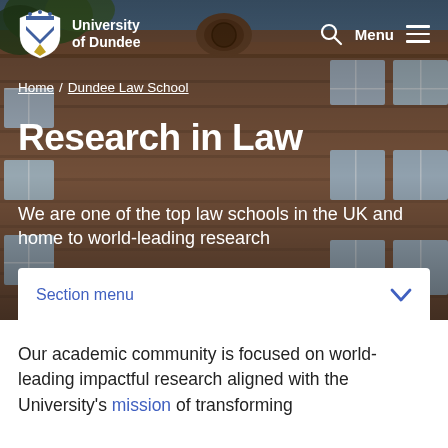[Figure (photo): University of Dundee stone building exterior with classical architecture, photographed from below showing upper floors and ornate stonework]
University of Dundee
Home / Dundee Law School
Research in Law
We are one of the top law schools in the UK and home to world-leading research
Section menu
Our academic community is focused on world-leading impactful research aligned with the University's mission of transforming